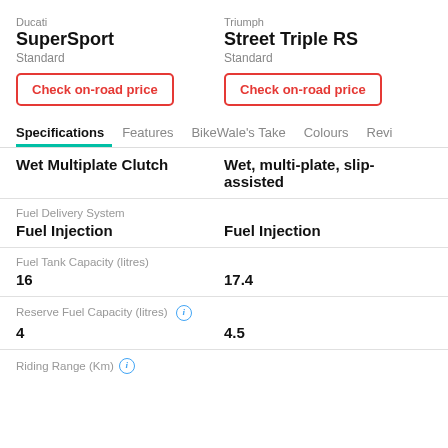Ducati
SuperSport
Standard
Check on-road price
Triumph
Street Triple RS
Standard
Check on-road price
Specifications
Features
BikeWale's Take
Colours
Revi
| Ducati SuperSport | Triumph Street Triple RS |
| --- | --- |
| Wet Multiplate Clutch | Wet, multi-plate, slip-assisted |
| Fuel Injection | Fuel Injection |
| 16 | 17.4 |
| 4 | 4.5 |
Fuel Delivery System
Fuel Tank Capacity (litres)
Reserve Fuel Capacity (litres)
Riding Range (Km)